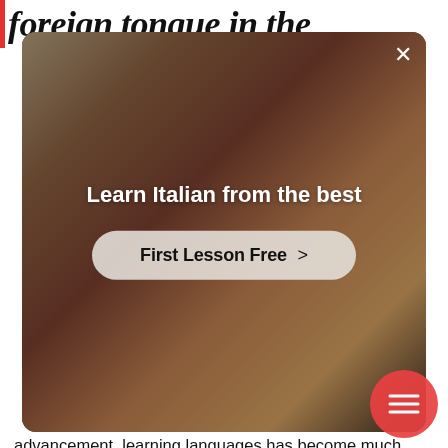foreign tongue in the
[Figure (screenshot): Advertisement overlay popup showing a woman in a red top with arms outstretched against a room background. Contains text 'Learn Italian from the best' and a button 'First Lesson Free >' with a close X button in the top right corner.]
advancement, learning languages has become much more engaging and attainable to people of all backgrounds. Nonetheless, that doesn't mean that all individuals are convinced by learning a language online. Therefore, the following are a few irrefutable reasons that will convince even the traditional students that acquiring Italian fluency can be accomplished through e-learning: